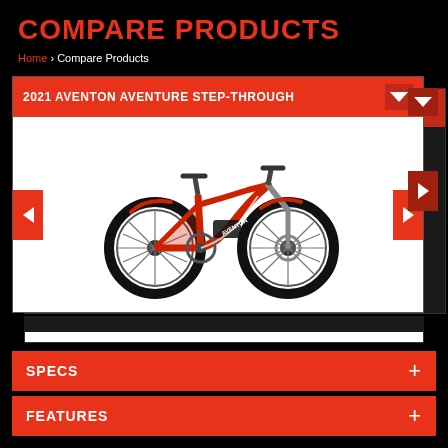COMPARE PRODUCTS
Home › Compare Products
2021 AVENTON AVENTURE STEP-THROUGH
[Figure (photo): Red 2021 Aventon Aventure Step-Through electric fat tire bike with black tires, disc brakes, and front suspension fork, shown in right-facing profile view]
SPECS +
FEATURES +